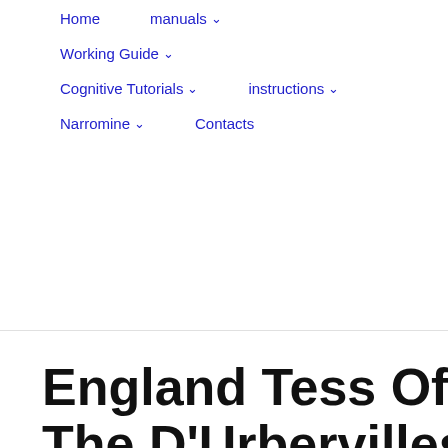Home | manuals ˅ | Working Guide ˅ | Cognitive Tutorials ˅ | instructions ˅ | Narromine ˅ | Contacts
England Tess Of The D'Urbervilles